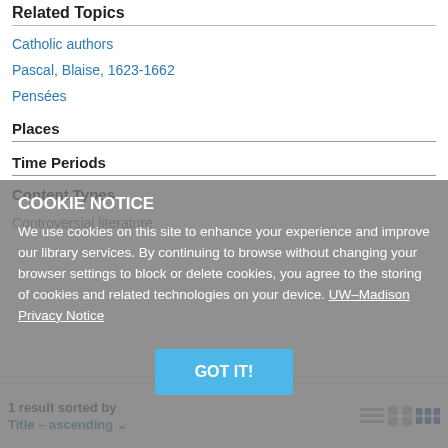Related Topics
Catholic authors
Pascal, Blaise, 1623-1662
Pensées
Places
Time Periods
Content Types
Controversial literature
COOKIE NOTICE
We use cookies on this site to enhance your experience and improve our library services. By continuing to browse without changing your browser settings to block or delete cookies, you agree to the storing of cookies and related technologies on your device. UW–Madison Privacy Notice
1 result sorted by Title – ascending